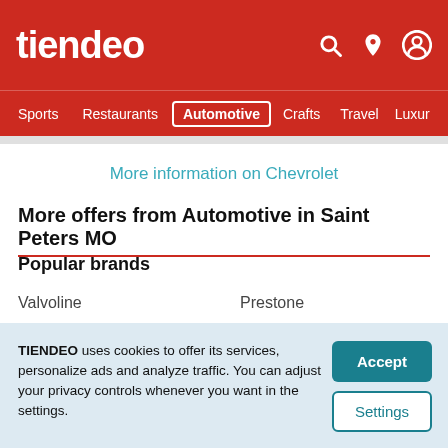tiendeo
Sports  Restaurants  Automotive  Crafts  Travel  Luxur
More information on Chevrolet
More offers from Automotive in Saint Peters MO
Popular brands
Valvoline
Prestone
Good Year
Castrol
TIENDEO uses cookies to offer its services, personalize ads and analyze traffic. You can adjust your privacy controls whenever you want in the settings.